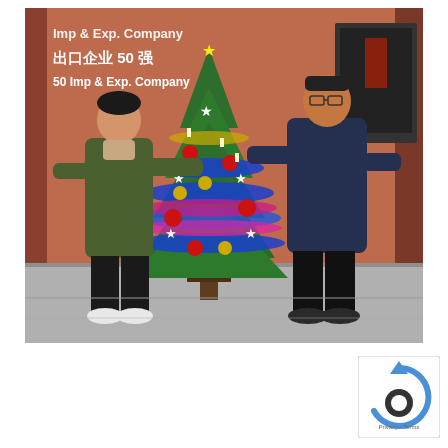[Figure (photo): Two men standing on either side of a decorated Christmas tree inside a building lobby. Behind them is a brick-colored wall with Chinese text reading '出口企业50强' and English text '50 Imp & Exp. Company'. The man on the left is Asian, wearing a green jacket and light-colored sneakers. The man on the right is wearing a dark blue puffer jacket and dark pants. The Christmas tree is decorated with blue, pink/magenta, and gold tinsel, red and gold ornaments, white star decorations, and candle lights. There is a screen/monitor visible on the right side of the background.]
[Figure (logo): reCAPTCHA badge/widget showing the reCAPTCHA logo (circular arrow icon in blue) with 'Privacy' and 'Terms' text below, partially visible at bottom right corner of page.]